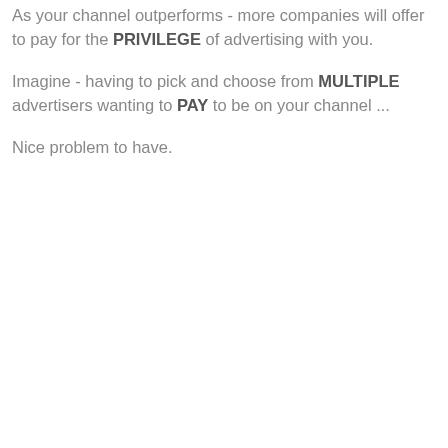As your channel outperforms - more companies will offer to pay for the PRIVILEGE of advertising with you.
Imagine - having to pick and choose from MULTIPLE advertisers wanting to PAY to be on your channel ...
Nice problem to have.